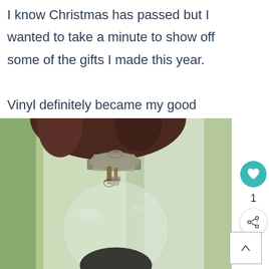I know Christmas has passed but I wanted to take a minute to show off some of the gifts I made this year.

Vinyl definitely became my good friend this Christmas!
[Figure (photo): Close-up photo of a hand holding a glass Christmas ornament by its metal cap, with a blurred outdoor background visible through a window.]